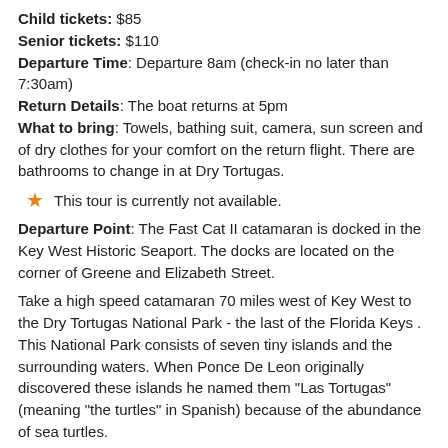Child tickets: $85
Senior tickets: $110
Departure Time: Departure 8am (check-in no later than 7:30am)
Return Details: The boat returns at 5pm
What to bring: Towels, bathing suit, camera, sun screen and of dry clothes for your comfort on the return flight. There are bathrooms to change in at Dry Tortugas.
This tour is currently not available.
Departure Point: The Fast Cat II catamaran is docked in the Key West Historic Seaport. The docks are located on the corner of Greene and Elizabeth Street.
Take a high speed catamaran 70 miles west of Key West to the Dry Tortugas National Park - the last of the Florida Keys . This National Park consists of seven tiny islands and the surrounding waters. When Ponce De Leon originally discovered these islands he named them "Las Tortugas" (meaning "the turtles" in Spanish) because of the abundance of sea turtles.
On this tour, you can snorkel the shallow reefs that surround the island and explore historic Fort Jefferson the "Gibraltar of the Gulf." You will also receive a complimentary continental breakfast and a sumptuous buffet lunch served on the Island.
What's included
2 hours of travel time, each way
Visit to Fort Jefferson...